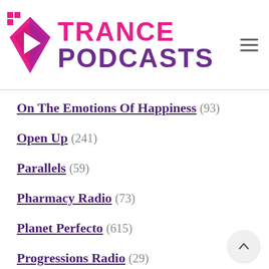[Figure (logo): Trance Podcasts logo with pink diamond play button icon and TRANCE PODCASTS text in pink and purple]
On The Emotions Of Happiness (93)
Open Up (241)
Parallels (59)
Pharmacy Radio (73)
Planet Perfecto (615)
Progressions Radio (29)
Progressive Sessions (202)
Pure Trance Radio (264)